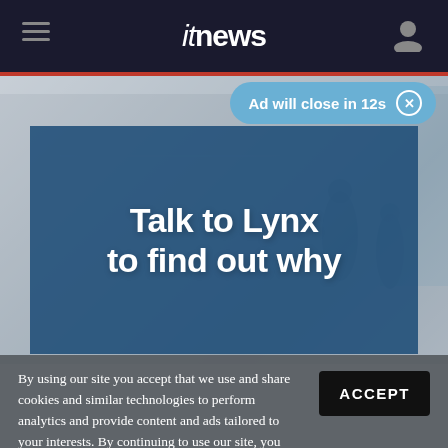itnews
[Figure (screenshot): Advertisement banner with blue overlay showing text 'Talk to Lynx to find out why' over a blurred office/lobby background image. An 'Ad will close in 12s' pill button appears at the top right.]
By using our site you accept that we use and share cookies and similar technologies to perform analytics and provide content and ads tailored to your interests. By continuing to use our site, you consent to this. Please see our Cookie Policy for more information.